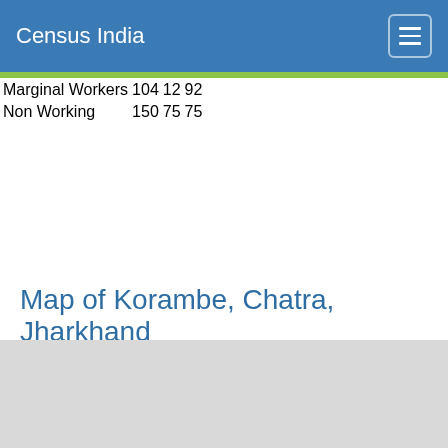Census India
| Marginal Workers | 104 | 12 | 92 |
| Non Working | 150 | 75 | 75 |
Map of Korambe, Chatra, Jharkhand
[Figure (map): Map area showing Korambe, Chatra, Jharkhand — displayed as a light grey placeholder map region]